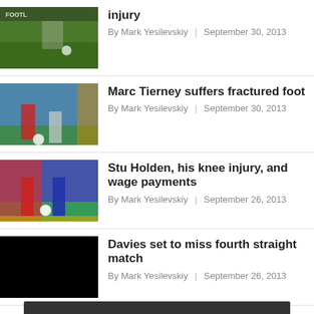[Figure (photo): Soccer match action photo - players on green field]
injury
By Mark Yesilevskiy | September 30, 2013
[Figure (photo): Soccer match - player in red and black jersey]
Marc Tierney suffers fractured foot
By Mark Yesilevskiy | September 30, 2013
[Figure (photo): Soccer match - player in red kit vs player in blue kit]
Stu Holden, his knee injury, and wage payments
By Mark Yesilevskiy | September 26, 2013
[Figure (photo): Dark/black thumbnail image]
Davies set to miss fourth straight match
By Mark Yesilevskiy | September 26, 2013